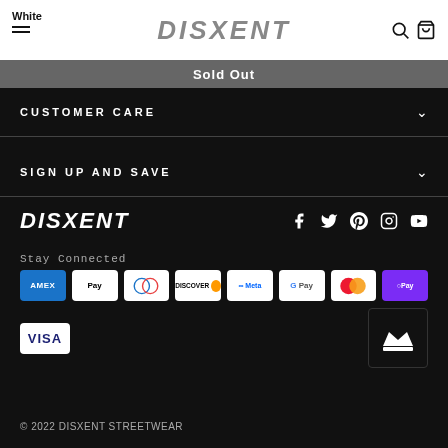White | DISXENT
Sold Out
CUSTOMER CARE
SIGN UP AND SAVE
[Figure (logo): DISXENT brand logo in white bold italic text]
[Figure (infographic): Social media icons: Facebook, Twitter, Pinterest, Instagram, YouTube]
Stay Connected
[Figure (infographic): Payment method badges: AMEX, Apple Pay, Diners Club, Discover, Meta Pay, Google Pay, Mastercard, Shop Pay, Visa]
[Figure (logo): Crown/Shogun badge logo]
© 2022 DISXENT STREETWEAR